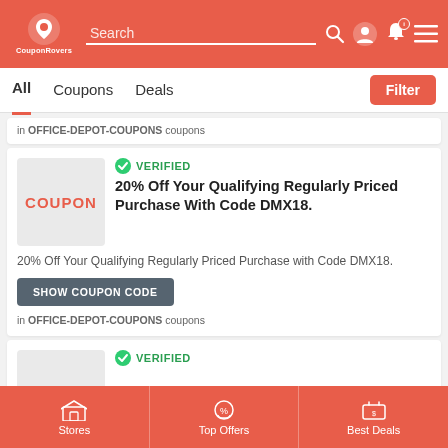CouponRovers — Search
in OFFICE-DEPOT-COUPONS coupons
VERIFIED
20% Off Your Qualifying Regularly Priced Purchase With Code DMX18.
20% Off Your Qualifying Regularly Priced Purchase with Code DMX18.
SHOW COUPON CODE
in OFFICE-DEPOT-COUPONS coupons
VERIFIED
Stores | Top Offers | Best Deals